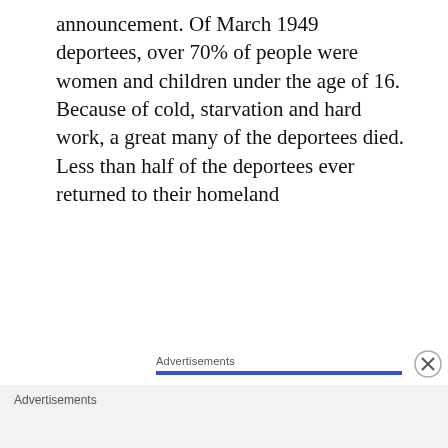announcement. Of March 1949 deportees, over 70% of people were women and children under the age of 16.
Because of cold, starvation and hard work, a great many of the deportees died. Less than half of the deportees ever returned to their homeland
Advertisements
[Figure (other): Pressable advertisement banner with logo, dots, and headline 'The Platform Where WordPress Works Best']
Advertisements